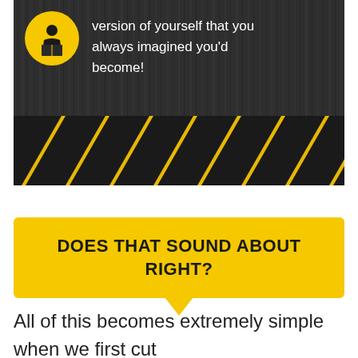[Figure (illustration): Dark textured background with a yellow circle icon (person reading/lifting) at top left, white text reading 'version of yourself that you always imagined you'd become!' and yellow/black hazard stripes at the bottom]
version of yourself that you always imagined you'd become!
DOES THAT SOUND ABOUT RIGHT?
All of this becomes extremely simple when we first cut